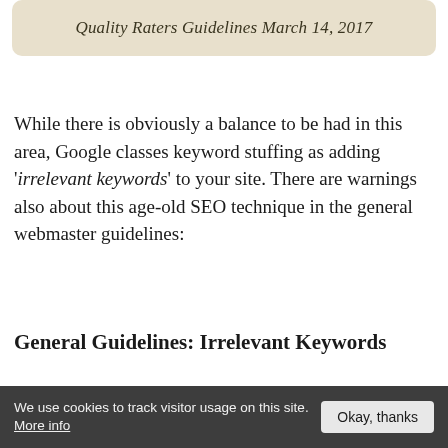Quality Raters Guidelines March 14, 2017
While there is obviously a balance to be had in this area, Google classes keyword stuffing as adding 'irrelevant keywords' to your site. There are warnings also about this age-old SEO technique in the general webmaster guidelines:
General Guidelines: Irrelevant Keywords
QUOTE: “Keyword stuffing” refers to the practice of loading a webpage with keywords or numbers in an attempt to manipulate a site’s
We use cookies to track visitor usage on this site. More info